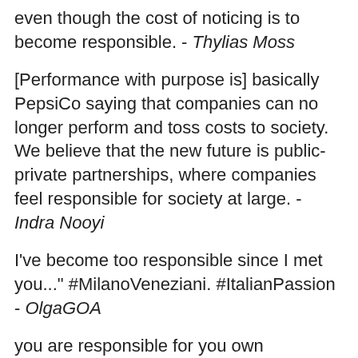even though the cost of noticing is to become responsible. - Thylias Moss
[Performance with purpose is] basically PepsiCo saying that companies can no longer perform and toss costs to society. We believe that the new future is public-private partnerships, where companies feel responsible for society at large. - Indra Nooyi
I've become too responsible since I met you..." #MilanoVeneziani. #ItalianPassion - OlgaGOA
you are responsible for you own happiness - Tshikororo Raymond